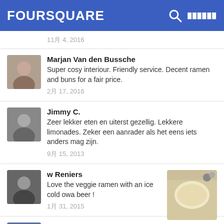FOURSQUARE
11月 4, 2016
Marjan Van den Bussche
Super cosy interiour. Friendly service. Decent ramen and buns for a fair price.
2月 17, 2016
Jimmy C.
Zeer lekker eten en uiterst gezellig. Lekkere limonades. Zeker een aanrader als het eens iets anders mag zijn.
9月 15, 2013
w Reniers
Love the veggie ramen with an ice cold owa beer !
1月 31, 2015
Nicki Chevrolet
Super lekker, vriendelijke bediening en leuke gezellige sfeer! Zeker een aanrader!
10月 6, 2014
Adam Kramer